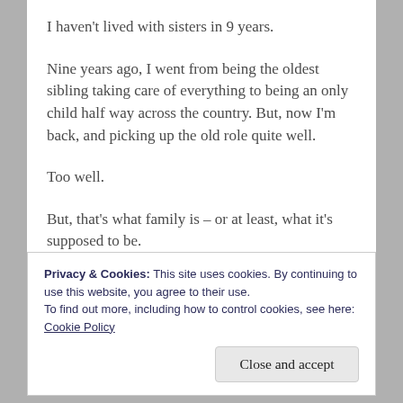I haven’t lived with sisters in 9 years.
Nine years ago, I went from being the oldest sibling taking care of everything to being an only child half way across the country. But, now I’m back, and picking up the old role quite well.
Too well.
But, that’s what family is – or at least, what it’s supposed to be.
Privacy & Cookies: This site uses cookies. By continuing to use this website, you agree to their use.
To find out more, including how to control cookies, see here:
Cookie Policy